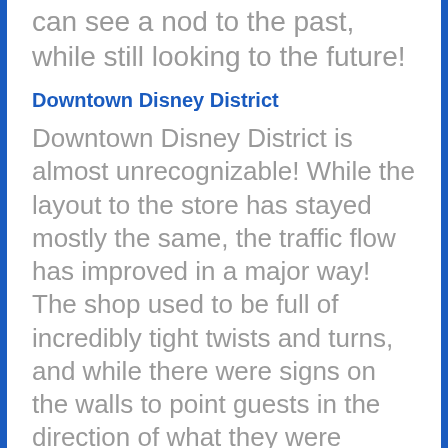can see a nod to the past, while still looking to the future!
Downtown Disney District
Downtown Disney District is almost unrecognizable! While the layout to the store has stayed mostly the same, the traffic flow has improved in a major way! The shop used to be full of incredibly tight twists and turns, and while there were signs on the walls to point guests in the direction of what they were shopping for, it was at times difficult to get a lay of the land. The new shop in incredibly clear in what type of merchandise will be where, and if the wall space isn't needed for signage, it is used for magic! One of my favorite magic effects was Tinkerbell flying in the wall behind one of the